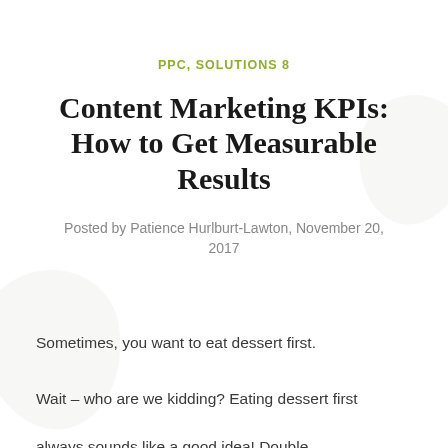PPC, SOLUTIONS 8
Content Marketing KPIs: How to Get Measurable Results
Posted by Patience Hurlburt-Lawton, November 20, 2017
Sometimes, you want to eat dessert first.
Wait – who are we kidding? Eating dessert first always sounds like a good idea! Double chocolate cake with a creamy ganache topping is…